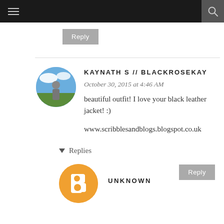≡  🔍
Reply
KAYNATH S // BLACKROSEKAY
October 30, 2015 at 4:46 AM
beautiful outfit! I love your black leather jacket! :)
www.scribblesandblogs.blogspot.co.uk
Reply
▾ Replies
UNKNOWN